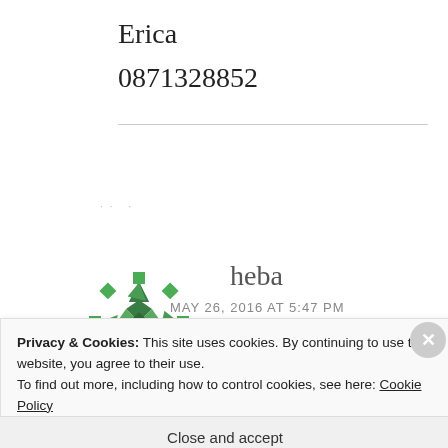Erica
0871328852
· · ·
[Figure (logo): Green geometric snowflake/star logo for user 'heba']
heba
MAY 26, 2016 AT 5:47 PM
Privacy & Cookies: This site uses cookies. By continuing to use this website, you agree to their use.
To find out more, including how to control cookies, see here: Cookie Policy
Close and accept